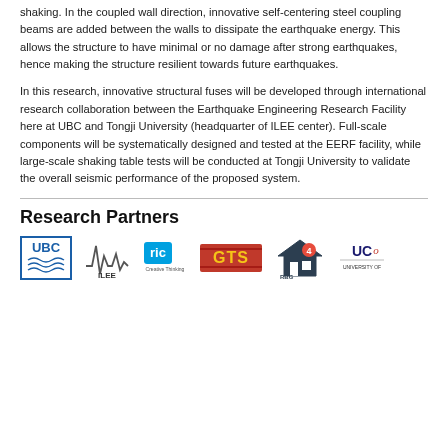shaking. In the coupled wall direction, innovative self-centering steel coupling beams are added between the walls to dissipate the earthquake energy. This allows the structure to have minimal or no damage after strong earthquakes, hence making the structure resilient towards future earthquakes.
In this research, innovative structural fuses will be developed through international research collaboration between the Earthquake Engineering Research Facility here at UBC and Tongji University (headquarter of ILEE center). Full-scale components will be systematically designed and tested at the EERF facility, while large-scale shaking table tests will be conducted at Tongji University to validate the overall seismic performance of the proposed system.
Research Partners
[Figure (logo): Row of research partner logos: UBC, ILEE, ric Creative Thinking, GTS, RBG (house icon), UCO University of...]